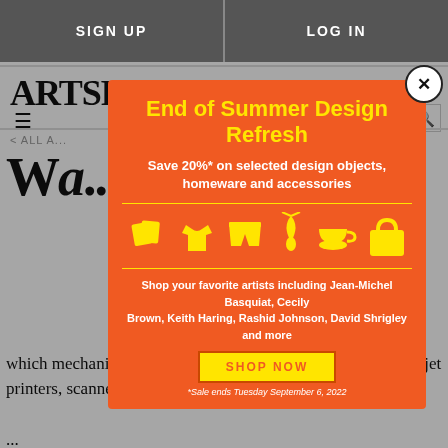SIGN UP   LOG IN
ARTSPACE
< ALL A...
W A...
[Figure (screenshot): Modal popup advertisement with orange background. Title: 'End of Summer Design Refresh' in yellow bold text. Subtitle: 'Save 20%* on selected design objects, homeware and accessories' in white bold text. Yellow horizontal dividers. Five yellow icons: books/pages, t-shirt, shorts, necklace/pendant, teacup, tote bag. Text: 'Shop your favorite artists including Jean-Michel Basquiat, Cecily Brown, Keith Haring, Rashid Johnson, David Shrigley and more'. Yellow button: 'SHOP NOW'. Footnote: '*Sale ends Tuesday September 6, 2022'. Close button (X) in top right corner.]
A ris... Guy... which mechanized images become physical works. Using inkjet printers, scanners, and desktop computer